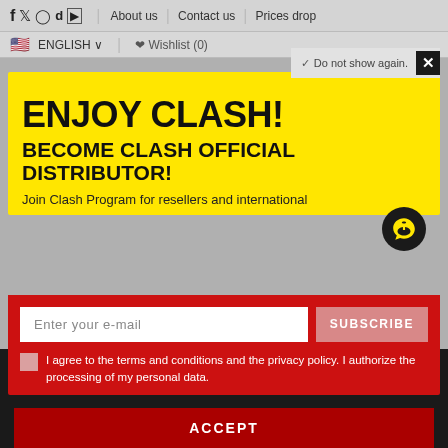f  🐦  📷  ♪  ▶   About us  |  Contact us  |  Prices drop
🇺🇸 ENGLISH ∨  |  ♡ Wishlist (0)
ENJOY CLASH!
BECOME CLASH OFFICIAL DISTRIBUTOR!
Join Clash Program for resellers and international
Enter your e-mail
SUBSCRIBE
I agree to the terms and conditions and the privacy policy. I authorize the processing of my personal data.
Do not show again.
continuing to browse and using its features, you accept the use of cookies as specified by our Privacy Policy.
ACCEPT